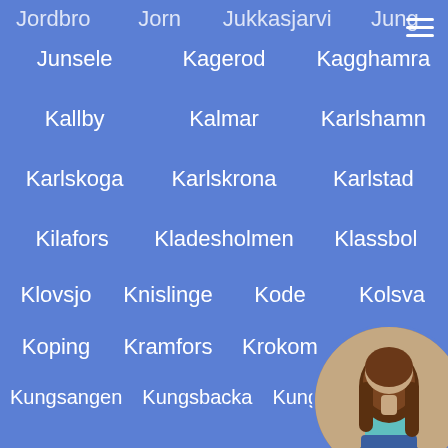Jordbro   Jorn   Jukkasjarvi   Jung
Junsele   Kagerod   Kagghamra
Kallby   Kalmar   Karlshamn
Karlskoga   Karlskrona   Karlstad
Kilafors   Kladesholmen   Klassbol
Klovsjo   Knislinge   Kode   Kolsva
Koping   Kramfors   Krokom   Kungalv
Kungsangen   Kungsbacka   Kungshamn
Kungsor   Kvanum   Lagan
Langshyttan   Lanna   Larv
Lenhovda   Lerum   Lidingo
[Figure (photo): Circular avatar photo of a woman with long brown hair wearing a teal top and denim shorts, seen from behind/side, positioned in bottom-right corner]